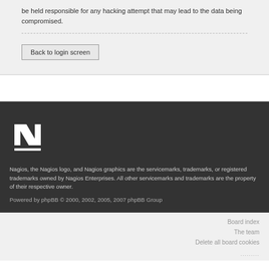be held responsible for any hacking attempt that may lead to the data being compromised.
Back to login screen
[Figure (logo): Nagios logo — stylized white letter N with underline on dark background]
Nagios, the Nagios logo, and Nagios graphics are the servicemarks, trademarks, or registered trademarks owned by Nagios Enterprises. All other servicemarks and trademarks are the property of their respective owner.
Powered by phpBB © 2000, 2002, 2005, 2007 phpBB Group
Board index
The team
Delete all board cookies